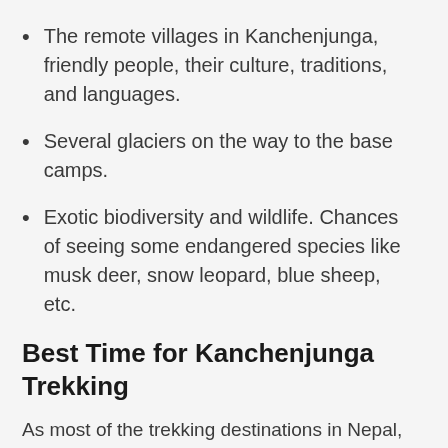The remote villages in Kanchenjunga, friendly people, their culture, traditions, and languages.
Several glaciers on the way to the base camps.
Exotic biodiversity and wildlife. Chances of seeing some endangered species like musk deer, snow leopard, blue sheep, etc.
Best Time for Kanchenjunga Trekking
As most of the trekking destinations in Nepal, Kanchenjunga trekking is also highly suitable during Spring (March, April, May) and Autumn (September, October, November). Autumn and Spring in Nepal are the most stable in terms of weather changes. Moreover, temperatures during these times are